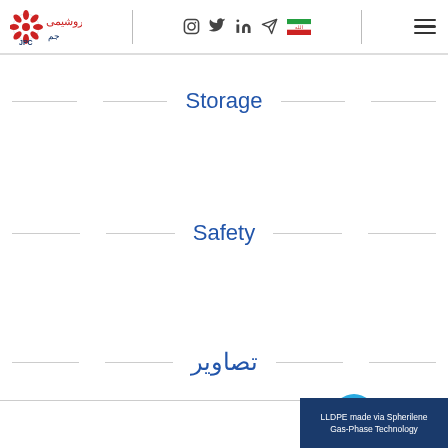JPC Logo and navigation header with social icons
Storage
Safety
تصاویر
[Figure (other): LLDPE made via Spherilene Gas-Phase Technology banner at bottom right]